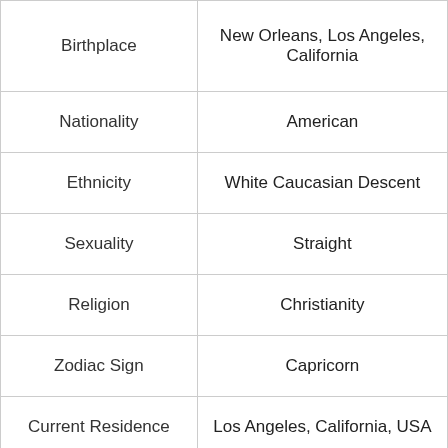|  |  |
| --- | --- |
| Birthplace | New Orleans, Los Angeles, California |
| Nationality | American |
| Ethnicity | White Caucasian Descent |
| Sexuality | Straight |
| Religion | Christianity |
| Zodiac Sign | Capricorn |
| Current Residence | Los Angeles, California, USA |
| Physical Stats |  |
[Figure (photo): Partial view of a nature/outdoor photo with trees and a 'Hold and Move' advertisement overlay with close button]